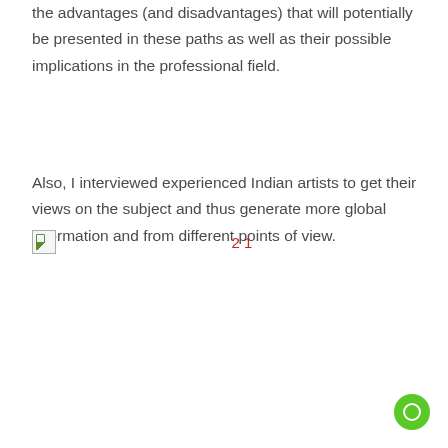the advantages (and disadvantages) that will potentially be presented in these paths as well as their possible implications in the professional field.
Also, I interviewed experienced Indian artists to get their views on the subject and thus generate more global information and from different points of view.
2 1